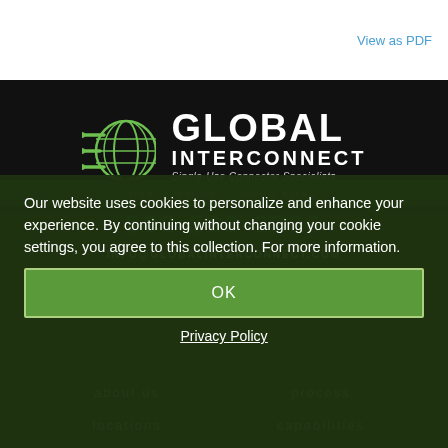View as PDF
[Figure (logo): Global Interconnect logo with globe icon and text: GLOBAL INTERCONNECT Single-Use Connector Specialists]
USA · CHINA · HONG KONG
508-563-6306
INFO@GLOBALINTERCONNECT.COM
Our website uses cookies to personalize and enhance your experience. By continuing without changing your cookie settings, you agree to this collection. For more information.
OK
Privacy Policy
about us
process
locations
capabilities